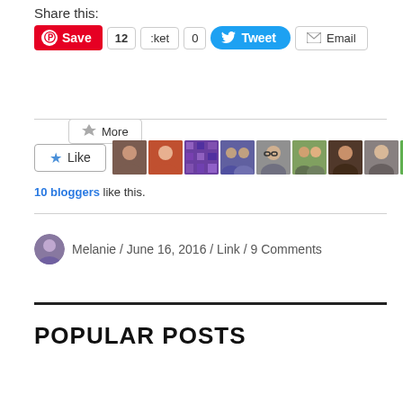Share this:
Save  12  :ket  0  Tweet  Email  More
[Figure (screenshot): Social sharing buttons: Pinterest Save, 12, :ket, 0, Tweet, Email, More]
[Figure (screenshot): Like button with star icon and 10 blogger avatars]
10 bloggers like this.
Melanie / June 16, 2016 / Link / 9 Comments
POPULAR POSTS